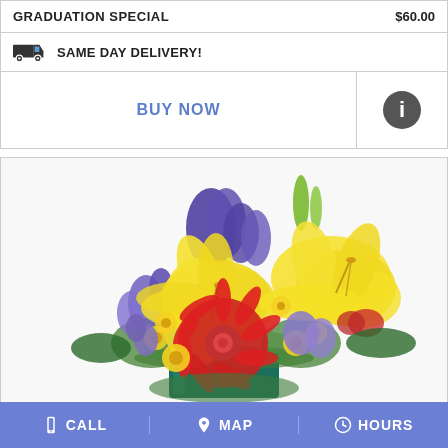GRADUATION SPECIAL   $60.00
SAME DAY DELIVERY!
BUY NOW
[Figure (photo): Floral arrangement in a teal vase with yellow lilies, red gerbera daisies, purple irises, and yellow button flowers]
CALL  MAP  HOURS